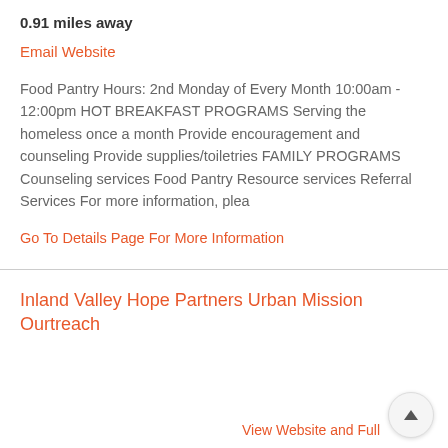0.91 miles away
Email Website
Food Pantry Hours: 2nd Monday of Every Month 10:00am - 12:00pm HOT BREAKFAST PROGRAMS Serving the homeless once a month Provide encouragement and counseling Provide supplies/toiletries FAMILY PROGRAMS Counseling services Food Pantry Resource services Referral Services For more information, plea
Go To Details Page For More Information
Inland Valley Hope Partners Urban Mission Ourtreach
View Website and Full